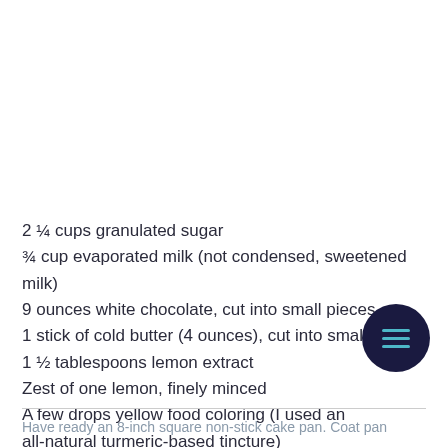2 ¼ cups granulated sugar
¾ cup evaporated milk (not condensed, sweetened milk)
9 ounces white chocolate, cut into small pieces
1 stick of cold butter (4 ounces), cut into small pieces
1 ½ tablespoons lemon extract
Zest of one lemon, finely minced
A few drops yellow food coloring (I used an all-natural turmeric-based tincture)
Have ready an 8-inch square non-stick cake pan. Coat pan with...